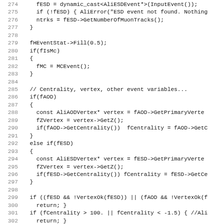[Figure (screenshot): Source code listing in C++ showing lines 274-306 of a physics analysis framework (ALICE/AliRoot), including ESD/AOD event reading, centrality, vertex retrieval logic.]